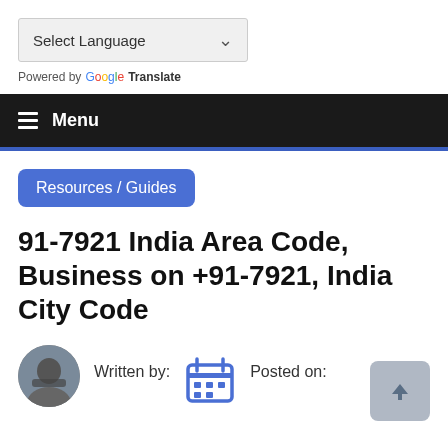[Figure (screenshot): Language selector dropdown showing 'Select Language' with a dropdown chevron, in a light gray box]
Powered by Google Translate
Menu
Resources / Guides
91-7921 India Area Code, Business on +91-7921, India City Code
Written by:
Posted on: